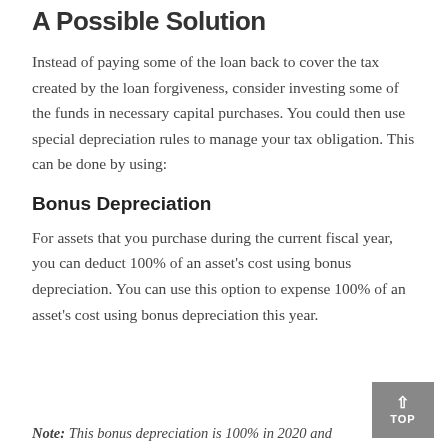A Possible Solution
Instead of paying some of the loan back to cover the tax created by the loan forgiveness, consider investing some of the funds in necessary capital purchases. You could then use special depreciation rules to manage your tax obligation. This can be done by using:
Bonus Depreciation
For assets that you purchase during the current fiscal year, you can deduct 100% of an asset's cost using bonus depreciation. You can use this option to expense 100% of an asset's cost using bonus depreciation this year.
Note: This bonus depreciation is 100% in 2020 and